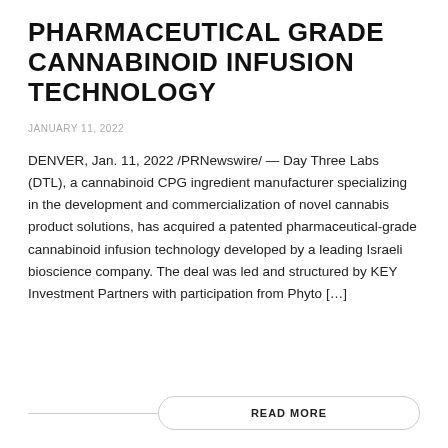PHARMACEUTICAL GRADE CANNABINOID INFUSION TECHNOLOGY
JANUARY 11, 2022
DENVER, Jan. 11, 2022 /PRNewswire/ — Day Three Labs (DTL), a cannabinoid CPG ingredient manufacturer specializing in the development and commercialization of novel cannabis product solutions, has acquired a patented pharmaceutical-grade cannabinoid infusion technology developed by a leading Israeli bioscience company. The deal was led and structured by KEY Investment Partners with participation from Phyto […]
READ MORE